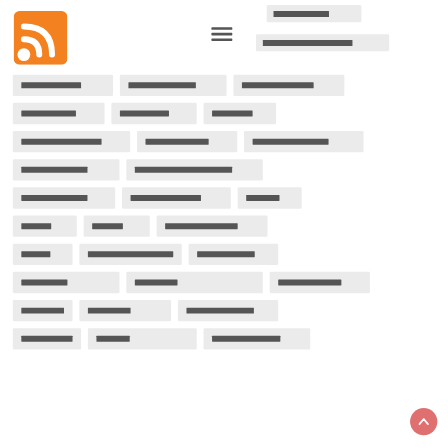[Figure (logo): RSS feed icon - orange square with white WiFi/RSS symbol]
[Figure (other): Hamburger menu icon (three horizontal lines)]
[redacted navigation button 1]
[redacted navigation button 2]
[redacted tag 1]
[redacted tag 2]
[redacted tag 3]
[redacted tag 4]
[redacted tag 5]
[redacted tag 6]
[redacted tag 7]
[redacted tag 8]
[redacted tag 9]
[redacted tag 10]
[redacted tag 11]
[redacted tag 12]
[redacted tag 13]
[redacted tag 14]
[redacted tag 15]
[redacted tag 16]
[redacted tag 17]
[redacted tag 18]
[redacted tag 19]
[redacted tag 20]
[redacted tag 21]
[redacted tag 22]
[redacted tag 23]
[redacted tag 24]
[redacted tag 25]
[redacted tag 26]
[redacted tag 27]
[redacted tag 28]
[redacted tag 29]
[redacted tag 30]
[Figure (other): Scroll-to-top circular button with upward chevron arrow]